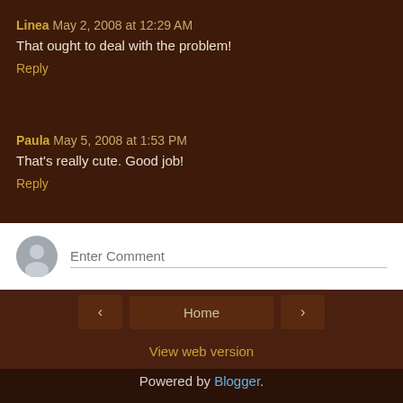Linea May 2, 2008 at 12:29 AM
That ought to deal with the problem!
Reply
Paula May 5, 2008 at 1:53 PM
That's really cute. Good job!
Reply
[Figure (other): Comment input box with avatar placeholder and Enter Comment text field]
Home
View web version
Powered by Blogger.